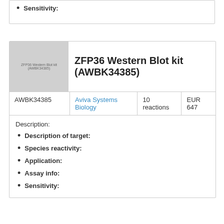Sensitivity:
[Figure (photo): Thumbnail image placeholder for ZFP36 Western Blot kit (AWBK34385), shown as a grey rectangle]
ZFP36 Western Blot kit (AWBK34385)
|  |  |  |  |
| --- | --- | --- | --- |
| AWBK34385 | Aviva Systems Biology | 10 reactions | EUR 647 |
Description:
Description of target:
Species reactivity:
Application:
Assay info:
Sensitivity: